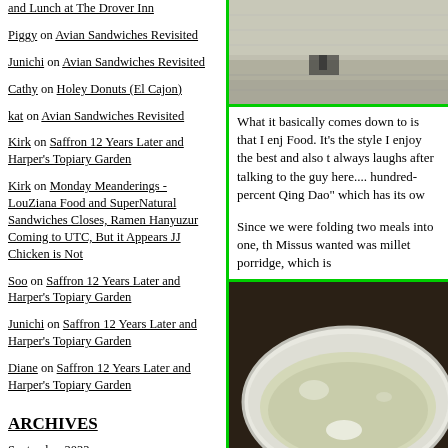and Lunch at The Drover Inn
Piggy on Avian Sandwiches Revisited
Junichi on Avian Sandwiches Revisited
Cathy on Holey Donuts (El Cajon)
kat on Avian Sandwiches Revisited
Kirk on Saffron 12 Years Later and Harper's Topiary Garden
Kirk on Monday Meanderings - LouZiana Food and SuperNatural Sandwiches Closes, Ramen Hanyuzur Coming to UTC, But it Appears JJ Chicken is Not
Soo on Saffron 12 Years Later and Harper's Topiary Garden
Junichi on Saffron 12 Years Later and Harper's Topiary Garden
Diane on Saffron 12 Years Later and Harper's Topiary Garden
ARCHIVES
September 2022
[Figure (photo): Top photo showing outdoor pavement/ground area with a dark figure, partially visible, cropped image with green border]
What it basically comes down to is that I enj Food. It's the style I enjoy the best and also t always laughs after talking to the guy here.... hundred-percent Qing Dao" which has its ow
Since we were folding two meals into one, th Missus wanted was millet porridge, which is
[Figure (photo): Close-up photo of a white ceramic bowl containing light-colored porridge or liquid, dark background, green border]